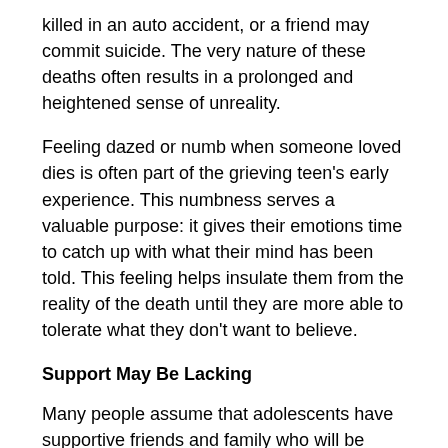killed in an auto accident, or a friend may commit suicide. The very nature of these deaths often results in a prolonged and heightened sense of unreality.
Feeling dazed or numb when someone loved dies is often part of the grieving teen's early experience. This numbness serves a valuable purpose: it gives their emotions time to catch up with what their mind has been told. This feeling helps insulate them from the reality of the death until they are more able to tolerate what they don't want to believe.
Support May Be Lacking
Many people assume that adolescents have supportive friends and family who will be continually available to them. In reality, this may not be true at